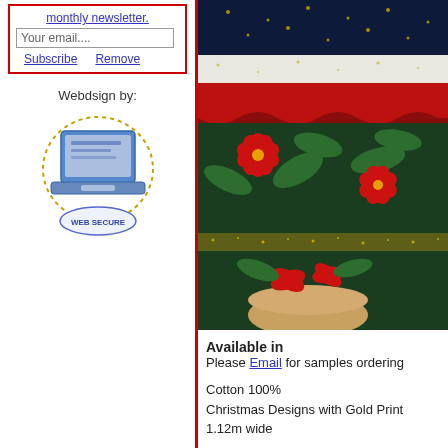monthly newsletter. Your email.... Subscribe  Remove
Webdsign by:
[Figure (logo): Laptop computer icon with 'WEB SECURE' badge below it, rendered in blue and gray tones with a dotted circular border]
[Figure (photo): Close-up photo of Christmas fabric with gold print, featuring poinsettia flowers, green leaves, stripes of navy/white/red, on dark green background]
Available in
Please Email for samples ordering
Cotton 100%
Christmas Designs with Gold Print
1.12m wide